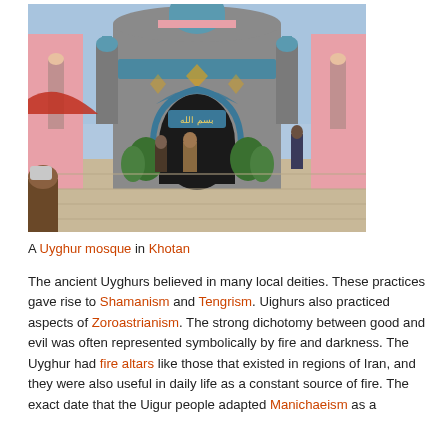[Figure (photo): Photo of a colorful Uyghur mosque entrance in Khotan, with pink walls decorated with blue and green tile work, stone towers, and an ornate arched gateway. Several people stand outside near the entrance.]
A Uyghur mosque in Khotan
The ancient Uyghurs believed in many local deities. These practices gave rise to Shamanism and Tengrism. Uighurs also practiced aspects of Zoroastrianism. The strong dichotomy between good and evil was often represented symbolically by fire and darkness. The Uyghur had fire altars like those that existed in regions of Iran, and they were also useful in daily life as a constant source of fire. The exact date that the Uigur people adapted Manichaeism as a